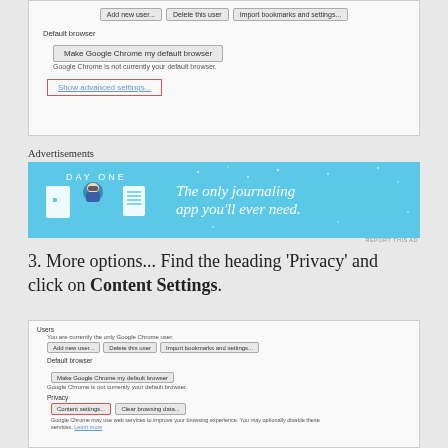[Figure (screenshot): Google Chrome settings screenshot showing Add new user, Delete this user, Import bookmarks buttons; Default browser section with Make Google Chrome my default browser button; Show advanced settings link highlighted in red border]
Advertisements
[Figure (illustration): Day One app advertisement banner - blue background with app icons and text 'The only journaling app you'll ever need.']
3. More options... Find the heading ‘Privacy’ and click on Content Settings.
[Figure (screenshot): Google Chrome settings screenshot showing Users section, Default browser section, and Privacy section with Content settings button highlighted in red border and Clear browsing data button]